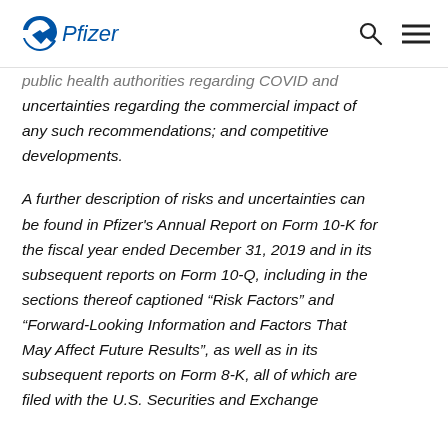Pfizer [logo] [search icon] [menu icon]
public health authorities regarding COVID and uncertainties regarding the commercial impact of any such recommendations; and competitive developments.
A further description of risks and uncertainties can be found in Pfizer's Annual Report on Form 10-K for the fiscal year ended December 31, 2019 and in its subsequent reports on Form 10-Q, including in the sections thereof captioned “Risk Factors” and “Forward-Looking Information and Factors That May Affect Future Results”, as well as in its subsequent reports on Form 8-K, all of which are filed with the U.S. Securities and Exchange